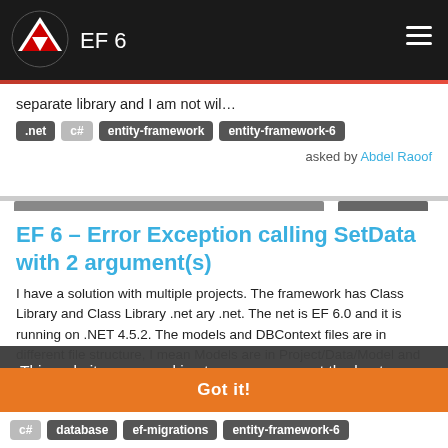EF 6
separate library and I am not wil…
.net  c#  entity-framework  entity-framework-6
asked by Abdel Raoof
EF 6 – Error Exception calling SetData with 2 argument(s)
I have a solution with multiple projects. The framework has Class Library and Class Library .net. The net is EF 6.0 and it is running on .NET 4.5.2. The models and DBContext files are in different file structure, I mean Models are in Project/Data/Model and DBContext is in Data folder. … to a…
This website uses cookies to ensure you get the best experience on our website. Learn more
Got it!
c#  database  ef-migrations  entity-framework-6